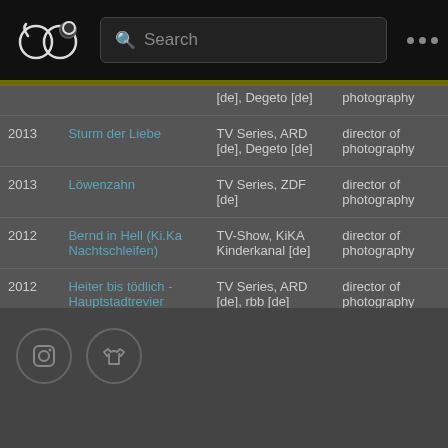[Figure (screenshot): Mobile app navigation bar with logo (overlapping circles), search bar, and three dots menu]
| Year | Title | Type | Role |
| --- | --- | --- | --- |
|  | [de], Degeto [de] | photography |  |
| 2013 | Sturm der Liebe | TV Series, ARD [de], Degeto [de] | director of photography |
| 2013 | Löwenzahn | TV Series, ZDF [de] | director of photography |
| 2012 | Bernd in Hell (Ki.Ka Nachtschleifen) | TV-Show, KiKA Kinderkanal [de] | director of photography |
| 2012 | Heiter bis tödlich - Hauptstadtrevier Folgen 5 - 8 | TV Series, ARD [de], rbb [de] | director of photography |
[Figure (screenshot): Two circular social media icons in footer area — camera/Instagram icon and shirt/Threadless icon]